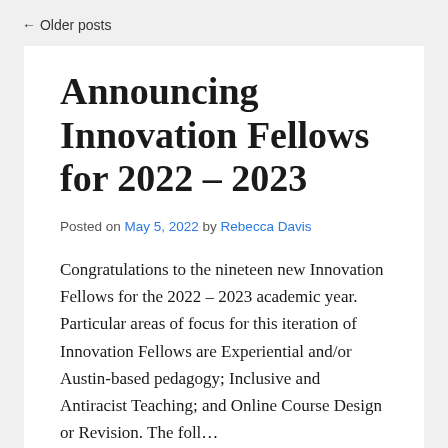← Older posts
Announcing Innovation Fellows for 2022 – 2023
Posted on May 5, 2022 by Rebecca Davis
Congratulations to the nineteen new Innovation Fellows for the 2022 – 2023 academic year. Particular areas of focus for this iteration of Innovation Fellows are Experiential and/or Austin-based pedagogy; Inclusive and Antiracist Teaching; and Online Course Design or Revision. The foll…